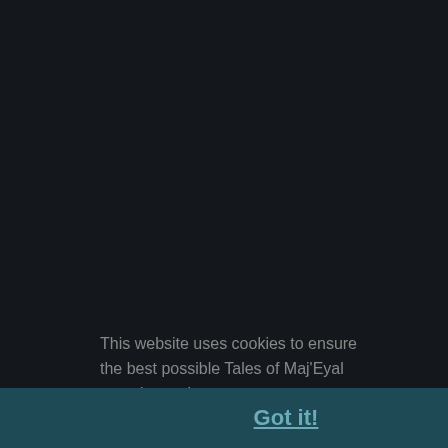acid, 14 temporal, 11 physical (28 total damage). Paradigmas de la Vida's Arrow Echoes hits Xanarithra the Thug for (11 flat reduction), 26
This website uses cookies to ensure the best possible Tales of Maj'Eyal experience. Learn more
Got it!